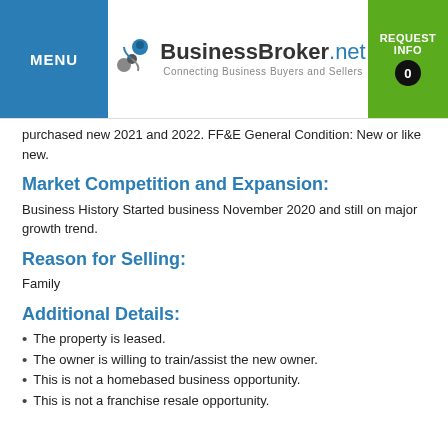MENU | BusinessBroker.net Connecting Business Buyers and Sellers | REQUEST INFO 0
purchased new 2021 and 2022. FF&E General Condition: New or like new.
Market Competition and Expansion:
Business History Started business November 2020 and still on major growth trend.
Reason for Selling:
Family
Additional Details:
The property is leased.
The owner is willing to train/assist the new owner.
This is not a homebased business opportunity.
This is not a franchise resale opportunity.